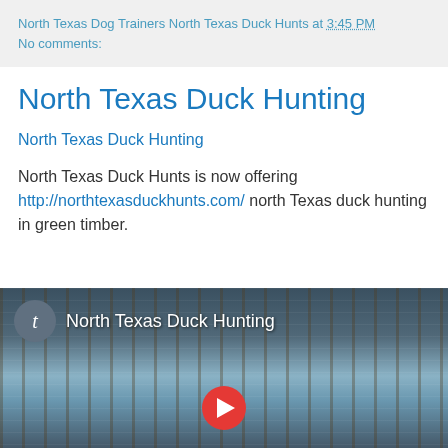North Texas Dog Trainers North Texas Duck Hunts at 3:45 PM
No comments:
North Texas Duck Hunting
North Texas Duck Hunting
North Texas Duck Hunts is now offering http://northtexasduckhunts.com/ north Texas duck hunting in green timber.
[Figure (screenshot): Video thumbnail showing flooded green timber with a play button overlay. Shows a circular avatar with letter 't' and title 'North Texas Duck Hunting' at the top left.]